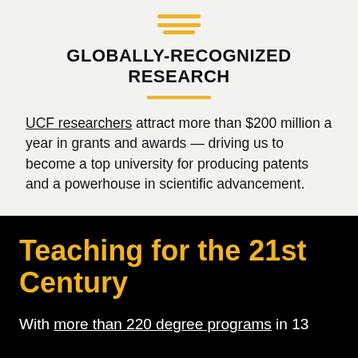[Figure (logo): UCF logo icon: three horizontal gold bars stacked, decreasing in width]
GLOBALLY-RECOGNIZED RESEARCH
UCF researchers attract more than $200 million a year in grants and awards — driving us to become a top university for producing patents and a powerhouse in scientific advancement.
Teaching for the 21st Century
With more than 220 degree programs in 13